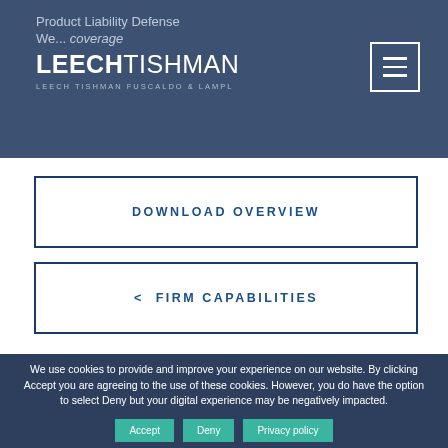Product Liability Defense
LEECHTISHMAN
We... coverage
LEECH TISHMAN FUSCALDO & LAMPL
DOWNLOAD OVERVIEW
<  FIRM CAPABILITIES
We use cookies to provide and improve your experience on our website. By clicking Accept you are agreeing to the use of these cookies. However, you do have the option to select Deny but your digital experience may be negatively impacted.
Accept  Deny  Privacy policy